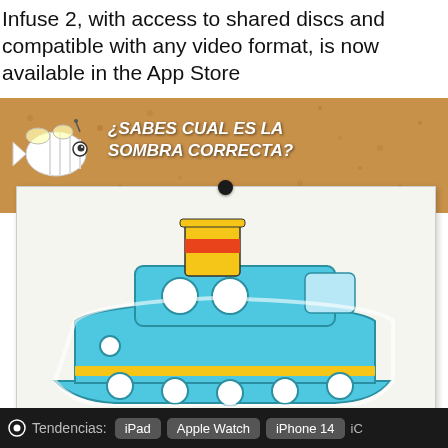Infuse 2, with access to shared discs and compatible with any video format, is now available in the App Store
[Figure (photo): A cork board with a cartoon fish/bee logo and text '¿SABES CUAL ES LA SOMBRA CORRECTA?' above a white paper sheet pinned with a pushpin showing a colorful cartoon boat illustration]
Tendencias: iPad  Apple Watch  iPhone 14  iC